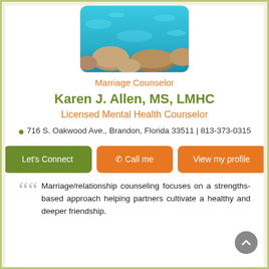[Figure (photo): Photo of rocks and turquoise flowing water]
Marriage Counselor
Karen J. Allen, MS, LMHC
Licensed Mental Health Counselor
716 S. Oakwood Ave., Brandon, Florida 33511 | 813-373-0315
Let's Connect | Call me | View my profile
Marriage/relationship counseling focuses on a strengths-based approach helping partners cultivate a healthy and deeper friendship.